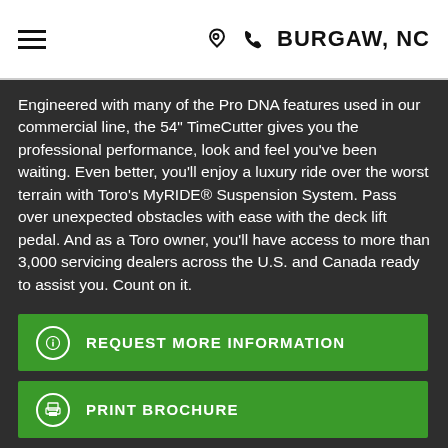☰  📞  📍  BURGAW, NC
Engineered with many of the Pro DNA features used in our commercial line, the 54" TimeCutter gives you the professional performance, look and feel you've been waiting. Even better, you'll enjoy a luxury ride over the worst terrain with Toro's MyRIDE® Suspension System. Pass over unexpected obstacles with ease with the deck lift pedal. And as a Toro owner, you'll have access to more than 3,000 servicing dealers across the U.S. and Canada ready to assist you. Count on it.
REQUEST MORE INFORMATION
PRINT BROCHURE
APPLY FOR FINANCING